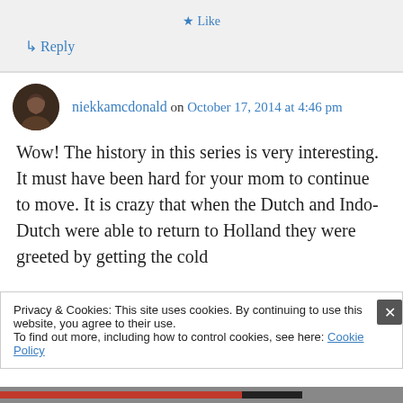★ Like
↳ Reply
niekkamcdonald on October 17, 2014 at 4:46 pm
Wow! The history in this series is very interesting. It must have been hard for your mom to continue to move. It is crazy that when the Dutch and Indo-Dutch were able to return to Holland they were greeted by getting the cold
Privacy & Cookies: This site uses cookies. By continuing to use this website, you agree to their use.
To find out more, including how to control cookies, see here: Cookie Policy
Close and accept